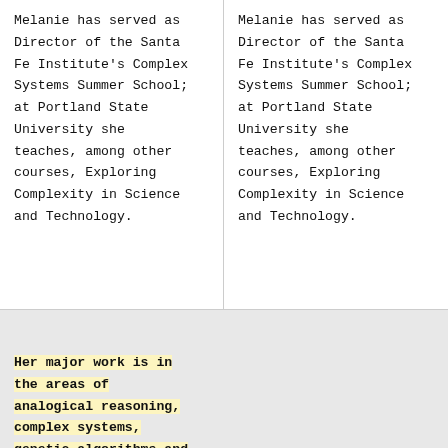Melanie has served as Director of the Santa Fe Institute's Complex Systems Summer School; at Portland State University she teaches, among other courses, Exploring Complexity in Science and Technology.
Melanie has served as Director of the Santa Fe Institute's Complex Systems Summer School; at Portland State University she teaches, among other courses, Exploring Complexity in Science and Technology.
Her major work is in the areas of analogical reasoning, complex systems, genetic algorithms and cellular automata, and her publications in those fields are frequently cited. She is the author of ''An